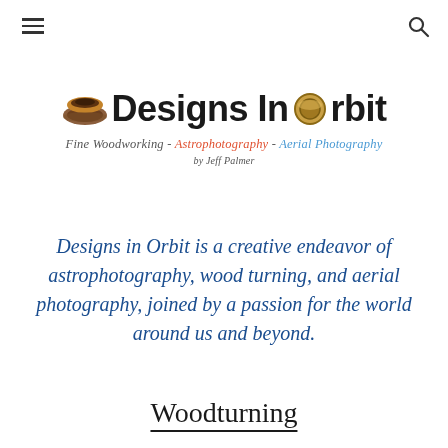[Figure (logo): Designs In Orbit logo with wooden bowl icon, gold ring for O, tagline 'Fine Woodworking - Astrophotography - Aerial Photography by Jeff Palmer']
Designs in Orbit is a creative endeavor of astrophotography, wood turning, and aerial photography, joined by a passion for the world around us and beyond.
Woodturning